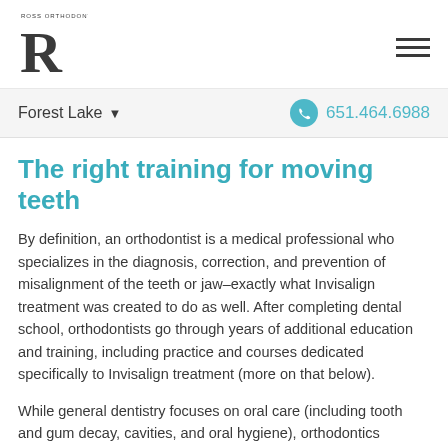[Figure (logo): Ross Orthodontics logo with large serif R and small text 'ROSS ORTHODONTICS']
[Figure (other): Hamburger menu icon with three horizontal lines]
Forest Lake ▼
651.464.6988
The right training for moving teeth
By definition, an orthodontist is a medical professional who specializes in the diagnosis, correction, and prevention of misalignment of the teeth or jaw–exactly what Invisalign treatment was created to do as well. After completing dental school, orthodontists go through years of additional education and training, including practice and courses dedicated specifically to Invisalign treatment (more on that below).
While general dentistry focuses on oral care (including tooth and gum decay, cavities, and oral hygiene), orthodontics focuses on tooth movement. Orthodontists are trained to use various methods to